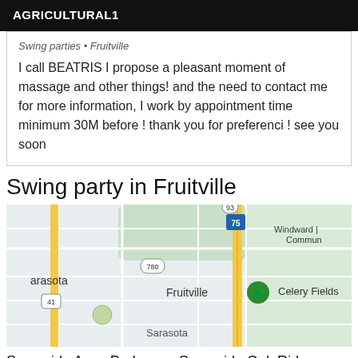AGRICULTURAL1
I call BEATRIS I propose a pleasant moment of massage and other things! and the need to contact me for more information, I work by appointment time minimum 30M before ! thank you for preferenci ! see you soon
Swing party in Fruitville
[Figure (map): Google Maps view showing Fruitville area near Sarasota, Florida. Shows roads, Interstate 75, route 93, route 780, route 41. Labels include: arasota, Fruitville, Sarasota, Windward Community, Celery Fields with green pin marker.]
Sex guide Avon Park
Sex guide Oak Ridge